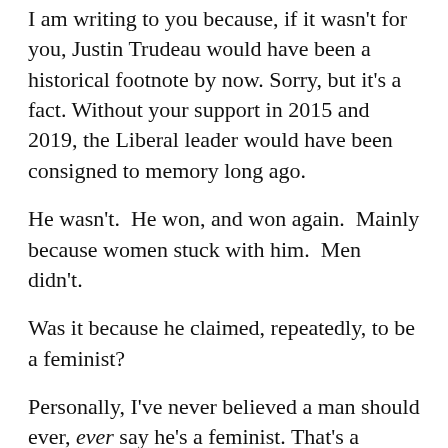I am writing to you because, if it wasn't for you, Justin Trudeau would have been a historical footnote by now. Sorry, but it's a fact. Without your support in 2015 and 2019, the Liberal leader would have been consigned to memory long ago.
He wasn't.  He won, and won again.  Mainly because women stuck with him.  Men didn't.
Was it because he claimed, repeatedly, to be a feminist?
Personally, I've never believed a man should ever, ever say he's a feminist. That's a coveted designation that women, alone, are entitled to hand out. Not men, and certainly not men talking about themselves.
Best case, men can and should be allies to women –